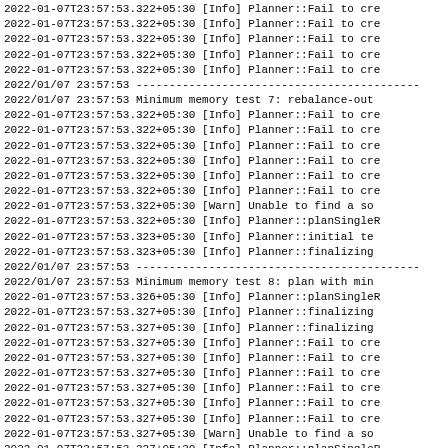2022-01-07T23:57:53.322+05:30 [Info] Planner::Fail to cre
2022-01-07T23:57:53.322+05:30 [Info] Planner::Fail to cre
2022-01-07T23:57:53.322+05:30 [Info] Planner::Fail to cre
2022-01-07T23:57:53.322+05:30 [Info] Planner::Fail to cre
2022-01-07T23:57:53.322+05:30 [Info] Planner::Fail to cre
2022/01/07 23:57:53 ---
2022/01/07 23:57:53 Minimum memory test 7: rebalance-out
2022-01-07T23:57:53.322+05:30 [Info] Planner::Fail to cre
2022-01-07T23:57:53.322+05:30 [Info] Planner::Fail to cre
2022-01-07T23:57:53.322+05:30 [Info] Planner::Fail to cre
2022-01-07T23:57:53.322+05:30 [Info] Planner::Fail to cre
2022-01-07T23:57:53.322+05:30 [Info] Planner::Fail to cre
2022-01-07T23:57:53.322+05:30 [Info] Planner::Fail to cre
2022-01-07T23:57:53.322+05:30 [Warn] Unable to find a so
2022-01-07T23:57:53.322+05:30 [Info] Planner::planSingleR
2022-01-07T23:57:53.323+05:30 [Info] Planner::initial te
2022-01-07T23:57:53.323+05:30 [Info] Planner::finalizing
2022/01/07 23:57:53 ---
2022/01/07 23:57:53 Minimum memory test 8: plan with min
2022-01-07T23:57:53.326+05:30 [Info] Planner::planSingleR
2022-01-07T23:57:53.327+05:30 [Info] Planner::finalizing
2022-01-07T23:57:53.327+05:30 [Info] Planner::finalizing
2022-01-07T23:57:53.327+05:30 [Info] Planner::Fail to cre
2022-01-07T23:57:53.327+05:30 [Info] Planner::Fail to cre
2022-01-07T23:57:53.327+05:30 [Info] Planner::Fail to cre
2022-01-07T23:57:53.327+05:30 [Info] Planner::Fail to cre
2022-01-07T23:57:53.327+05:30 [Info] Planner::Fail to cre
2022-01-07T23:57:53.327+05:30 [Info] Planner::Fail to cre
2022-01-07T23:57:53.327+05:30 [Warn] Unable to find a so
2022-01-07T23:57:53.327+05:30 [Info] Planner::planSingleR
2022-01-07T23:57:53.327+05:30 [Info] Planner::finalizing